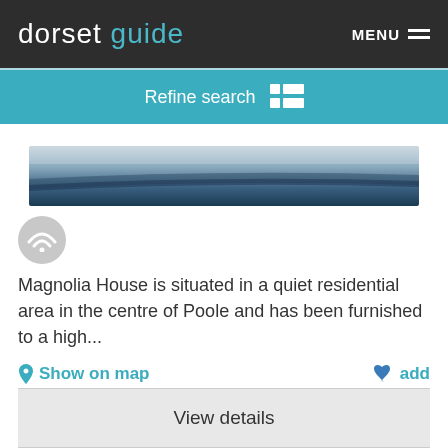dorset guide  MENU
Refine search
[Figure (photo): Aerial or top-down photo of what appears to be a road or path with a dark surface]
[Figure (infographic): WiFi signal icon in a grey circle]
Magnolia House is situated in a quiet residential area in the centre of Poole and has been furnished to a high...
Show on map    add
View details
Harbour View Poole Apartments
From £168.00